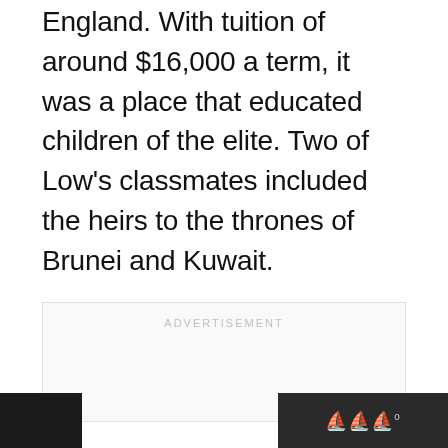England. With tuition of around $16,000 a term, it was a place that educated children of the elite. Two of Low's classmates included the heirs to the thrones of Brunei and Kuwait.
ADVERTISEMENT
WWº